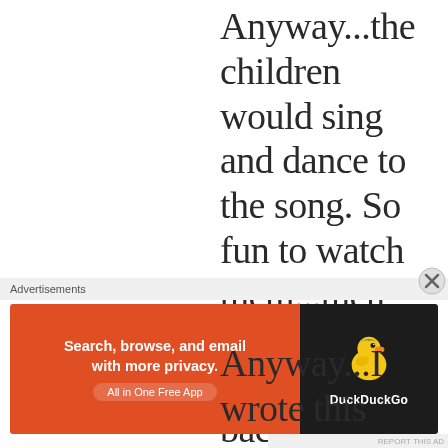Anyway...the children would sing and dance to the song. So fun to watch them...then they would get their backpacks and get ready to dismiss. My most important motive to playing the video!
Anyway...I wrote this
Advertisements
[Figure (other): DuckDuckGo advertisement banner: orange left side with text 'Search, browse, and email with more privacy. All in One Free App' and dark right side with DuckDuckGo duck logo and brand name.]